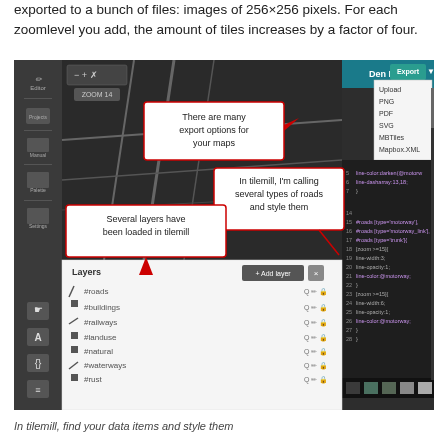exported to a bunch of files: images of 256×256 pixels. For each zoomlevel you add, the amount of tiles increases by a factor of four.
[Figure (screenshot): Screenshot of TileMill application showing a dark map with road layers, a layers panel listing #roads, #buildings, #railways, #landuse, #natural, #waterways, #rust, a code editor panel with CSS styling for roads, an Export dropdown menu showing options Upload, PNG, PDF, SVG, MBTiles, Mapbox XML, View exports, and two annotation callout boxes: 'There are many export options for your maps' and 'In tilemill, I'm calling several types of roads and style them' and 'Several layers have been loaded in tilemill']
In tilemill, find your data items and style them